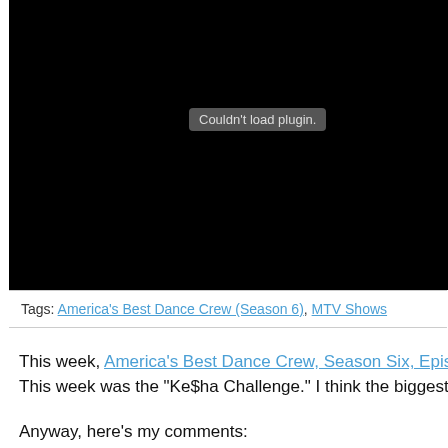[Figure (screenshot): Black rectangle area representing a video/plugin embed area that failed to load, showing a dark gray pill-shaped button with text 'Couldn't load plugin.']
Tags: America's Best Dance Crew (Season 6), MTV Shows
This week, America's Best Dance Crew, Season Six, Episode 2 featured five new crews, with a good mix of styles and personalities. This week was the "Ke$ha Challenge." I think the biggest challenge was finding five decent songs by Ke$ha to dance to (oh snap!).
Anyway, here's my comments: